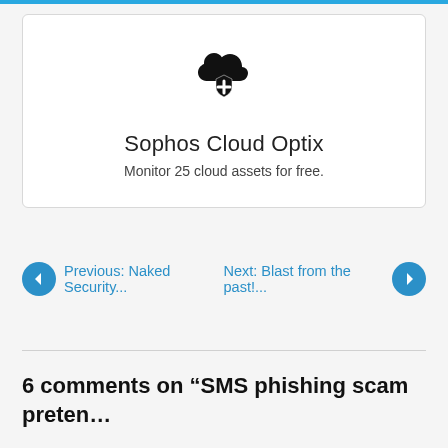[Figure (logo): Sophos Cloud Optix logo: cloud icon with a shield and plus sign beneath it]
Sophos Cloud Optix
Monitor 25 cloud assets for free.
Previous: Naked Security...
Next: Blast from the past!...
6 comments on “SMS phishing scam preten…